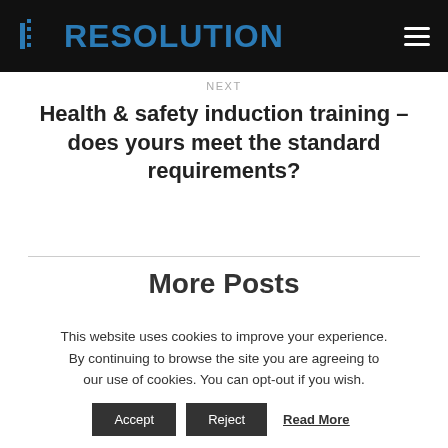RESOLUTION
NEXT
Health & safety induction training – does yours meet the standard requirements?
More Posts
This website uses cookies to improve your experience. By continuing to browse the site you are agreeing to our use of cookies. You can opt-out if you wish.